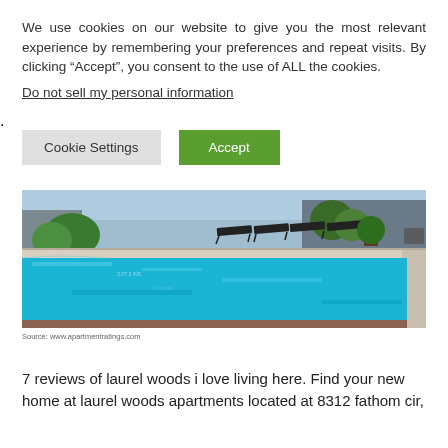We use cookies on our website to give you the most relevant experience by remembering your preferences and repeat visits. By clicking “Accept”, you consent to the use of ALL the cookies.
Do not sell my personal information.
Cookie Settings   Accept
[Figure (photo): Outdoor apartment swimming pool with lounge chairs and landscaping visible in the background. Clear blue water fills the pool.]
Source: www.apartmentratings.com
7 reviews of laurel woods i love living here. Find your new home at laurel woods apartments located at 8312 fathom cir,